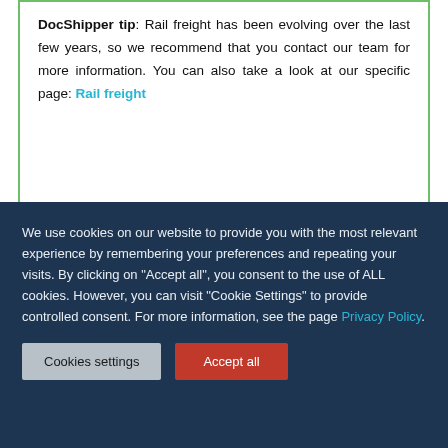DocShipper tip: Rail freight has been evolving over the last few years, so we recommend that you contact our team for more information. You can also take a look at our specific page: Rail freight
We use cookies on our website to provide you with the most relevant experience by remembering your preferences and repeating your visits. By clicking on "Accept all", you consent to the use of ALL cookies. However, you can visit "Cookie Settings" to provide controlled consent. For more information, see the page Privacy Policy.